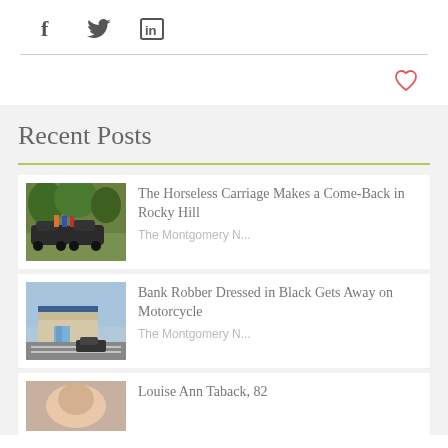[Figure (infographic): Social media share icons: Facebook (f), Twitter (bird), LinkedIn (in)]
[Figure (infographic): Heart/like icon (outline, red/coral color) for liking a post]
Recent Posts
The Horseless Carriage Makes a Come-Back in Rocky Hill
The Montgomery N...
Bank Robber Dressed in Black Gets Away on Motorcycle
The Montgomery N...
Louise Ann Taback, 82